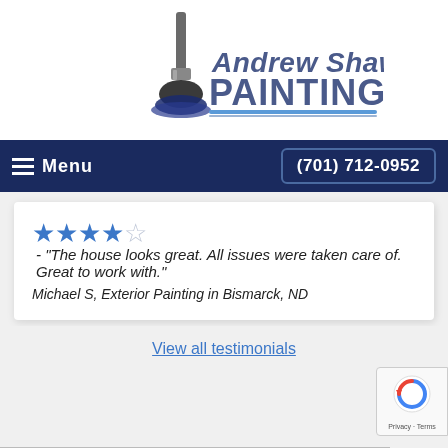[Figure (logo): Andrew Shaw Painting logo with a paint brush graphic on the left and stylized text 'Andrew Shaw PAINTING' on the right]
[Figure (screenshot): Dark navy navigation bar with hamburger menu icon and 'Menu' text on the left, and phone number '(701) 712-0952' button on the right]
★★★★☆ - "The house looks great. All issues were taken care of. Great to work with."
Michael S, Exterior Painting in Bismarck, ND
View all testimonials